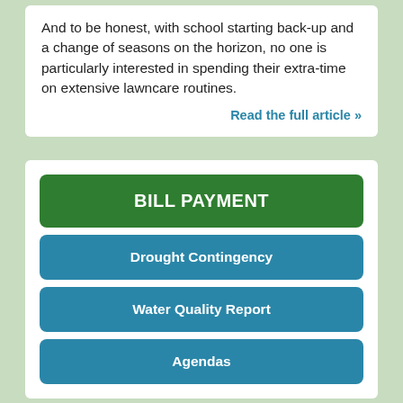And to be honest, with school starting back-up and a change of seasons on the horizon, no one is particularly interested in spending their extra-time on extensive lawncare routines.
Read the full article »
BILL PAYMENT
Drought Contingency
Water Quality Report
Agendas
Local Weather